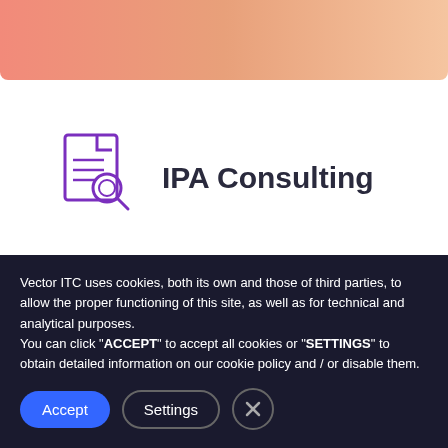[Figure (illustration): Top gradient banner with salmon/orange gradient color]
[Figure (illustration): Purple document/search icon representing IPA Consulting]
IPA Consulting
We advise businesses on the intelligent automation of their operations, and
Vector ITC uses cookies, both its own and those of third parties, to allow the proper functioning of this site, as well as for technical and analytical purposes. You can click "ACCEPT" to accept all cookies or "SETTINGS" to obtain detailed information on our cookie policy and / or disable them.